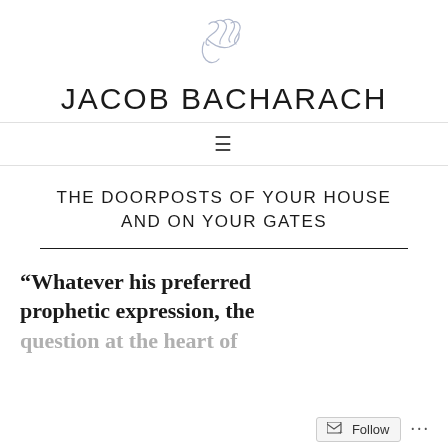[Figure (illustration): Handwritten signature or initials in light blue/gray ink, serving as a logo for the blog]
JACOB BACHARACH
≡
THE DOORPOSTS OF YOUR HOUSE AND ON YOUR GATES
“Whatever his preferred prophetic expression, the question at the heart of